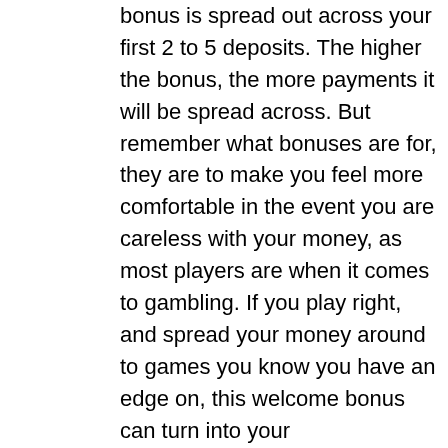bonus is spread out across your first 2 to 5 deposits. The higher the bonus, the more payments it will be spread across. But remember what bonuses are for, they are to make you feel more comfortable in the event you are careless with your money, as most players are when it comes to gambling. If you play right, and spread your money around to games you know you have an edge on, this welcome bonus can turn into your winnings.What is an online casino percentage deposit match?Let's say you deposit $1,000 to your favorite casino, and the terms are 400% deposit match on your first 4 deposits, up to $8,000. You would see a total deposit of $4,000 in your account. If you do the math, that's $1,000 x 4. You will not be able to exceed $8,000 in matchups, so you could do the $1,000 deposit 1 more time to reach $8,000. This is how percentage deposit-matching works. Be sure to read the fine print before